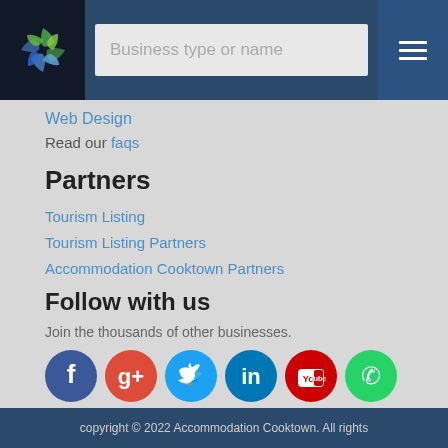[Figure (logo): Colourful pinwheel/spiral logo on dark background with search bar and hamburger menu]
Web Design
Read our faqs
Partners
Tourism Listing
Tourism Listing Partners
Accommodation Cooktown Partners
Follow with us
Join the thousands of other businesses.
[Figure (illustration): Row of social media icons: Facebook (blue), Google+ (red), Twitter (light blue), LinkedIn (teal), YouTube (red), WhatsApp (green)]
copyright © 2022 Accommodation Cooktown. All rights